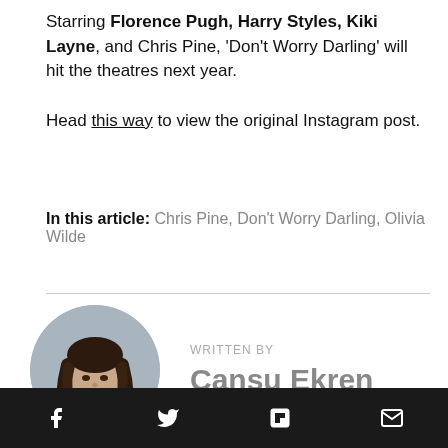Starring Florence Pugh, Harry Styles, Kiki Layne, and Chris Pine, 'Don't Worry Darling' will hit the theatres next year.
Head this way to view the original Instagram post.
In this article: Chris Pine, Don't Worry Darling, Olivia Wilde
[Figure (photo): Circular author photo of Cansu Ekren, a young woman with long dark hair, wearing a red top, smiling]
WRITTEN BY
Cansu Ekren
Facebook, Twitter, Flipboard, Email share icons